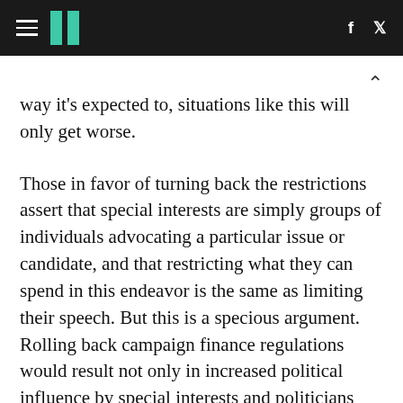HuffPost navigation with logo, facebook and twitter icons
way it's expected to, situations like this will only get worse.
Those in favor of turning back the restrictions assert that special interests are simply groups of individuals advocating a particular issue or candidate, and that restricting what they can spend in this endeavor is the same as limiting their speech. But this is a specious argument. Rolling back campaign finance regulations would result not only in increased political influence by special interests and politicians spending too much time fundraising, but also in a huge